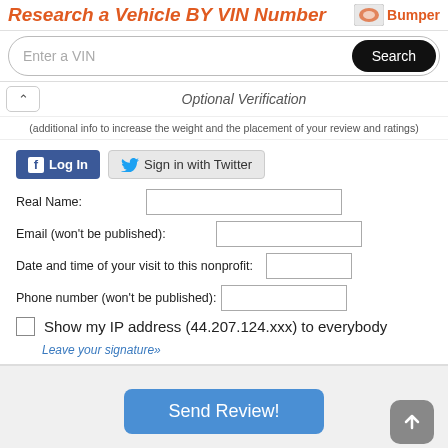Research a Vehicle BY VIN Number — Bumper
Enter a VIN
Optional Verification
(additional info to increase the weight and the placement of your review and ratings)
Log In | Sign in with Twitter
Real Name:
Email (won't be published):
Date and time of your visit to this nonprofit:
Phone number (won't be published):
Show my IP address (44.207.124.xxx) to everybody
Leave your signature»
Send Review!
Recently Added Reviews